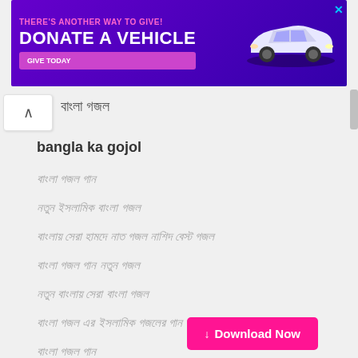[Figure (screenshot): Advertisement banner with purple background, text 'THERE'S ANOTHER WAY TO GIVE! DONATE A VEHICLE GIVE TODAY' and image of a white SUV car]
বাংলা গজল
bangla ka gojol
বাংলা গজল গান
নতুন ইসলামিক বাংলা গজল
বাংলায় সেরা হামদে নাত গজল নাশিদ বেস্ট গজল
বাংলা গজল গান নতুন গজল
নতুন বাংলায় সেরা বাংলা গজল
বাংলা গজল এর ইসলামিক গজলের গান ডাউনলোড বাংলার
বাংলা গজল গান
বাংলা গজল ডাউনলোড গজল
বাংলা গজল গান ডাউনলোড
বাংলা গজল ইসলামিক ডাউনলোড গজল
বাংলা গজল ডাউনলোড গজল
বাংলা গজল ডাউনলোড গজল এর ইসলামিক বাংলার
বাংলা বাংলায় গজল
↓ Download Now
নতুন বাংলায় গজল